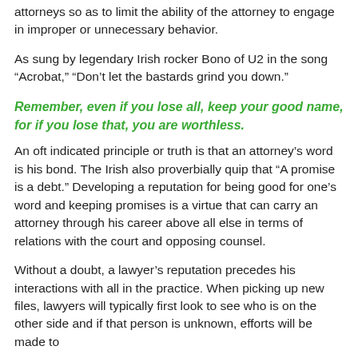attorneys so as to limit the ability of the attorney to engage in improper or unnecessary behavior.
As sung by legendary Irish rocker Bono of U2 in the song “Acrobat,” “Don’t let the bastards grind you down.”
Remember, even if you lose all, keep your good name, for if you lose that, you are worthless.
An oft indicated principle or truth is that an attorney’s word is his bond. The Irish also proverbially quip that “A promise is a debt.” Developing a reputation for being good for one’s word and keeping promises is a virtue that can carry an attorney through his career above all else in terms of relations with the court and opposing counsel.
Without a doubt, a lawyer’s reputation precedes his interactions with all in the practice. When picking up new files, lawyers will typically first look to see who is on the other side and if that person is unknown, efforts will be made to